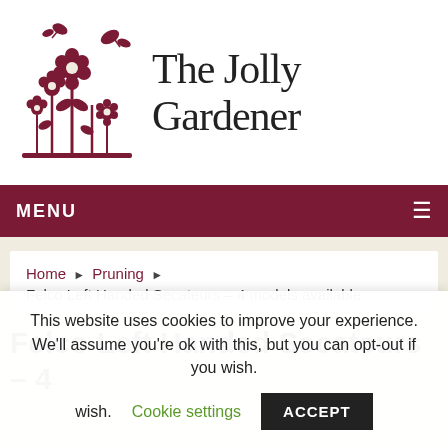[Figure (logo): The Jolly Gardener logo: dark red/maroon floral and butterfly silhouette illustration on the left, with cursive 'The Jolly Gardener' text on the right]
MENU ≡
Home ▶ Pruning ▶
Felco Left Handed Secateurs – 4 models available
Felco Left Handed Secateurs – 4
This website uses cookies to improve your experience. We'll assume you're ok with this, but you can opt-out if you wish.  Cookie settings  ACCEPT